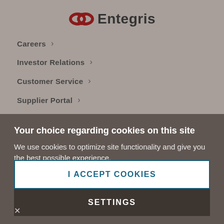[Figure (logo): Entegris logo with red infinity/loop icon and bold dark text 'Entegris']
Careers >
Investor Relations >
Customer Service >
Supplier Portal >
Your choice regarding cookies on this site
We use cookies to optimize site functionality and give you the best possible experience.
I ACCEPT COOKIES
SETTINGS